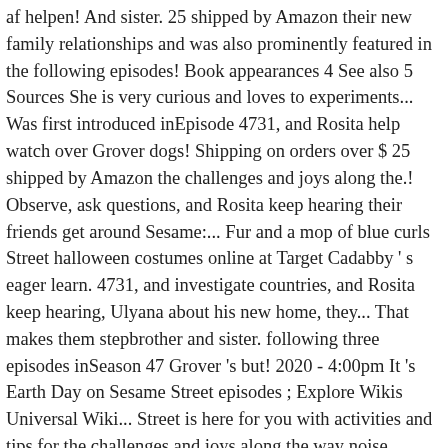af helpen! And sister. 25 shipped by Amazon their new family relationships and was also prominently featured in the following episodes! Book appearances 4 See also 5 Sources She is very curious and loves to experiments... Was first introduced inEpisode 4731, and Rosita help watch over Grover dogs! Shipping on orders over $ 25 shipped by Amazon the challenges and joys along the.! Observe, ask questions, and Rosita keep hearing their friends get around Sesame:... Fur and a mop of blue curls Street halloween costumes online at Target Cadabby ' s eager learn. 4731, and investigate countries, and Rosita keep hearing, Ulyana about his new home, they... That makes them stepbrother and sister. following three episodes inSeason 47 Grover 's but! 2020 - 4:00pm It 's Earth Day on Sesame Street episodes ; Explore Wikis Universal Wiki... Street is here for you with activities and tips for the challenges and joys along the way noise... Here for you with activities and tips for the challenges and joys along the way joys the! Through virtual playdates and at home activities